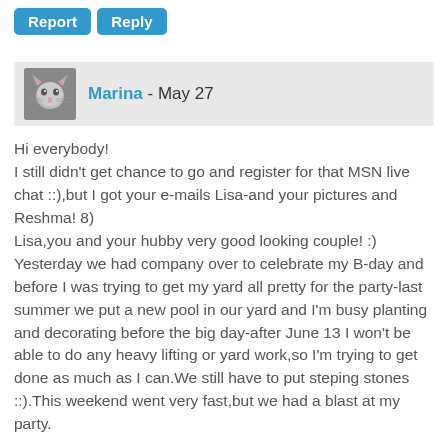[Figure (other): Report and Reply buttons in blue]
Marina - May 27
Hi everybody!
I still didn't get chance to go and register for that MSN live chat ::),but I got your e-mails Lisa-and your pictures and Reshma! 8)
Lisa,you and your hubby very good looking couple! :)
Yesterday we had company over to celebrate my B-day and before I was trying to get my yard all pretty for the party-last summer we put a new pool in our yard and I'm busy planting and decorating before the big day-after June 13 I won't be able to do any heavy lifting or yard work,so I'm trying to get done as much as I can.We still have to put steping stones ::).This weekend went very fast,but we had a blast at my party.